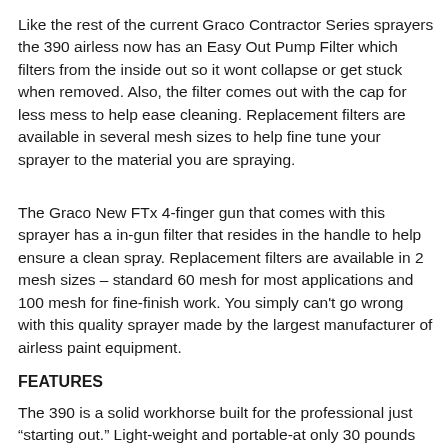Like the rest of the current Graco Contractor Series sprayers the 390 airless now has an Easy Out Pump Filter which filters from the inside out so it wont collapse or get stuck when removed. Also, the filter comes out with the cap for less mess to help ease cleaning. Replacement filters are available in several mesh sizes to help fine tune your sprayer to the material you are spraying.
The Graco New FTx 4-finger gun that comes with this sprayer has a in-gun filter that resides in the handle to help ensure a clean spray. Replacement filters are available in 2 mesh sizes – standard 60 mesh for most applications and 100 mesh for fine-finish work. You simply can't go wrong with this quality sprayer made by the largest manufacturer of airless paint equipment.
FEATURES
The 390 is a solid workhorse built for the professional just “starting out.” Light-weight and portable-at only 30 pounds it's easy to lift.